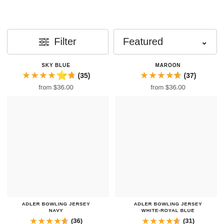Filter
Featured
SKY BLUE
★★★★½ (35) from $36.00
MAROON
★★★★½ (37) from $36.00
ADLER BOWLING JERSEY NAVY
★★★★½ (36)
ADLER BOWLING JERSEY WHITE-ROYAL BLUE
★★★★½ (31)